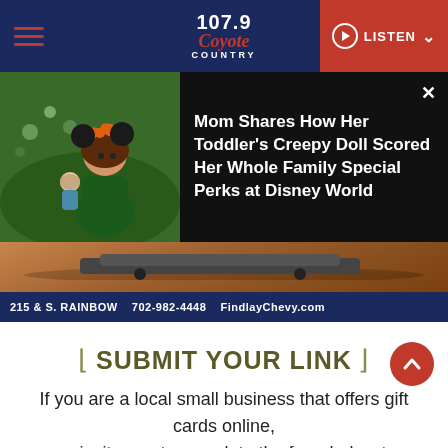107.9 Coyote Country | LISTEN
[Figure (screenshot): News card with photo of a toddler girl dressed as Minnie Mouse holding a doll, dark background]
Mom Shares How Her Toddler's Creepy Doll Scored Her Whole Family Special Perks at Disney World
[Figure (photo): Advertisement banner for Findlay Chevrolet with dusty desert scene]
215 & S. RAINBOW   702-982-4448   FindlayChevy.com
⌐ SUBMIT YOUR LINK ¬
If you are a local small business that offers gift cards online, we invite you to complete the form below to be included in Operation: Gift Card.